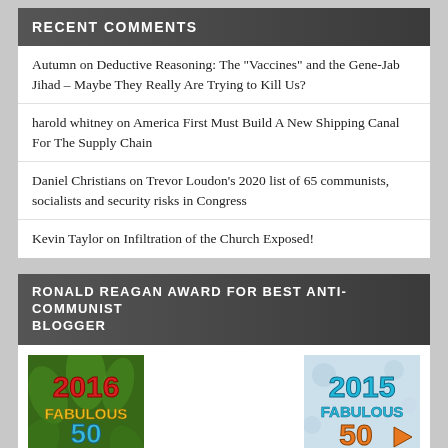RECENT COMMENTS
Autumn on Deductive Reasoning: The "Vaccines" and the Gene-Jab Jihad – Maybe They Really Are Trying to Kill Us?
harold whitney on America First Must Build A New Shipping Canal For The Supply Chain
Daniel Christians on Trevor Loudon's 2020 list of 65 communists, socialists and security risks in Congress
Kevin Taylor on Infiltration of the Church Exposed!
RONALD REAGAN AWARD FOR BEST ANTI-COMMUNIST BLOGGER
[Figure (illustration): 2016 Fabulous 50 Blog Award Winner badge with green jungle background]
[Figure (illustration): 2015 Fabulous 50 Blog Award badge with silver/white background]